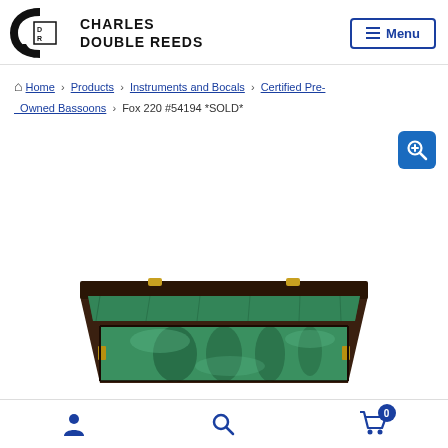CHARLES DOUBLE REEDS — Menu
Home › Products › Instruments and Bocals › Certified Pre-Owned Bassoons › Fox 220 #54194 *SOLD*
[Figure (photo): Open bassoon case with green velvet interior, showing instrument slots, photographed from above with dark wooden exterior and gold latches visible.]
User icon | Search icon | Cart (0)